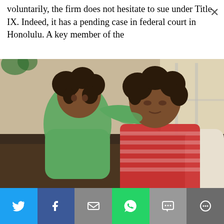voluntarily, the firm does not hesitate to sue under Title IX. Indeed, it has a pending case in federal court in Honolulu. A key member of the
[Figure (photo): A woman and a young child embracing on a couch. The child, wearing a green floral top, leans on the woman who is wearing a red striped shirt.]
Gov Murphy: Don't hurt working families by threatening 500,000 temp-staff jobs VETO S-511
[Figure (infographic): Social media sharing bar with buttons for Twitter, Facebook, Email, WhatsApp, SMS, and More.]